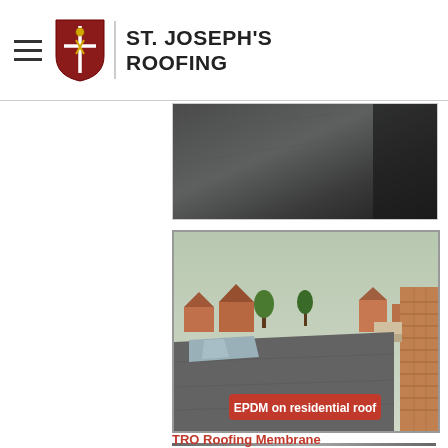ST. JOSEPH'S ROOFING
[Figure (photo): Partial view of a dark grey flat roof surface, cropped at top]
[Figure (photo): EPDM flat rubber roofing on a residential roof, aerial view showing grey membrane with suburban houses in background. Red label overlay reads: EPDM on residential roof]
TRO Roofing Membrane